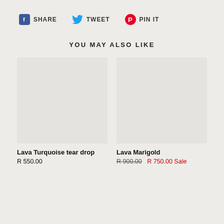SHARE  TWEET  PIN IT
YOU MAY ALSO LIKE
[Figure (photo): Product image placeholder for Lava Turquoise tear drop]
Lava Turquoise tear drop
R 550.00
[Figure (photo): Product image placeholder for Lava Marigold]
Lava Marigold
R 900.00  R 750.00 Sale